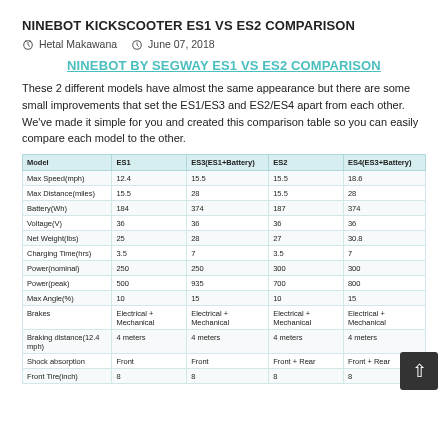NINEBOT KICKSCOOTER ES1 VS ES2 COMPARISON
Hetal Makawana   June 07, 2018
NINEBOT BY SEGWAY ES1 VS ES2 COMPARISON
These 2 different models have almost the same appearance but there are some small improvements that set the ES1/ES3 and ES2/ES4 apart from each other. We've made it simple for you and created this comparison table so you can easily compare each model to the other.
| Model | ES1 | ES3(ES1+Battery) | ES2 | ES4(ES3+Battery) |
| --- | --- | --- | --- | --- |
| Max Speed(mph) | 12.4 | 15.5 | 15.5 | 18.6 |
| Max Distance(miles) | 15.5 | 28 | 15.5 | 28 |
| Battery(Wh) | 184 | 374 | 187 | 374 |
| Voltage(V) | 36 | 36 | 36 | 36 |
| Net Weight(lbs) | 25 | 28 | 27 | 30.8 |
| Charging Time(hrs) | 3.5 | 7 | 3.5 | 7 |
| Power(nominal) | 250 | 250 | 300 | 300 |
| Power(peak) | 500 | 935 | 700 | 800 |
| Max Angle(%) | 10 | 15 | 10 | 15 |
| Brakes | Electrical + Mechanical | Electrical + Mechanical | Electrical + Mechanical | Electrical + Mechanical |
| Braking distance(12.4 mph) | 4 meters | 4 meters | 4 meters | 4 meters |
| Shock absorption | Front | Front | Front + Rear | Front + Rear |
| Front Tire(inch) | 8 | 8 | 8 | 8 |